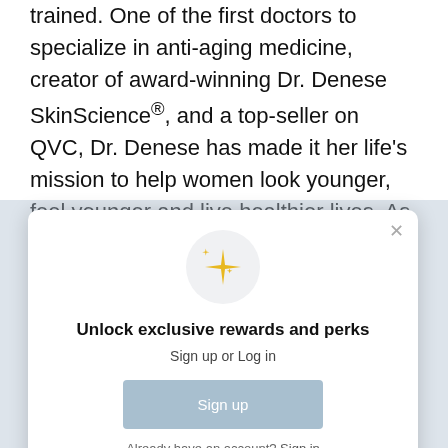trained. One of the first doctors to specialize in anti-aging medicine, creator of award-winning Dr. Denese SkinScience®, and a top-seller on QVC, Dr. Denese has made it her life's mission to help women look younger, feel younger and live healthier lives. As an accomplished doctor, businesswoman and skin care visionary, Dr. Denese has connected directly to customers through her PBS Special,
[Figure (screenshot): A modal popup dialog with a sparkle/star icon in a light gray circle, heading 'Unlock exclusive rewards and perks', subtitle 'Sign up or Log in', a blue-gray 'Sign up' button, and text 'Already have an account? Sign in' with Sign in underlined. An X close button is in the top right corner.]